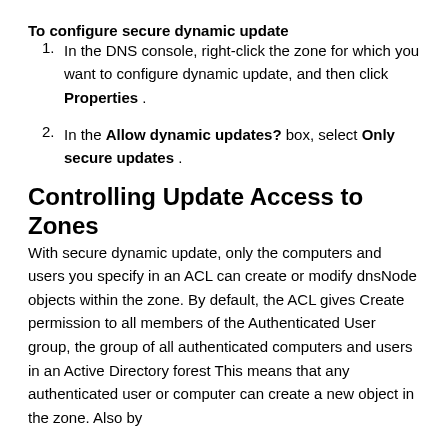To configure secure dynamic update
In the DNS console, right-click the zone for which you want to configure dynamic update, and then click Properties .
In the Allow dynamic updates? box, select Only secure updates .
Controlling Update Access to Zones
With secure dynamic update, only the computers and users you specify in an ACL can create or modify dnsNode objects within the zone. By default, the ACL gives Create permission to all members of the Authenticated User group, the group of all authenticated computers and users in an Active Directory forest This means that any authenticated user or computer can create a new object in the zone. Also by